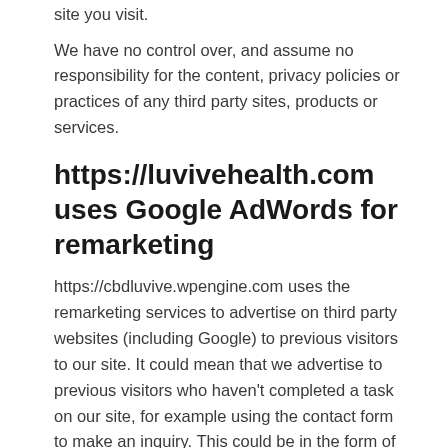site you visit.
We have no control over, and assume no responsibility for the content, privacy policies or practices of any third party sites, products or services.
https://luvivehealth.com uses Google AdWords for remarketing
https://cbdluvive.wpengine.com uses the remarketing services to advertise on third party websites (including Google) to previous visitors to our site. It could mean that we advertise to previous visitors who haven’t completed a task on our site, for example using the contact form to make an inquiry. This could be in the form of an advertisement on the Google search results page or a site in the Google Display Network. This b...